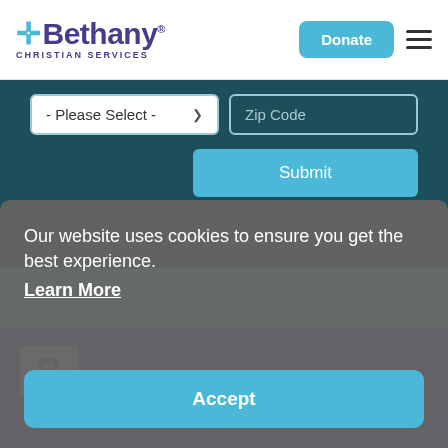Bethany Christian Services — Donate
[Figure (screenshot): Web form with a dropdown labeled '- Please Select -' and a Zip Code input field, plus a Submit button, on a dark teal background]
Our website uses cookies to ensure you get the best experience.
Learn More
Accept